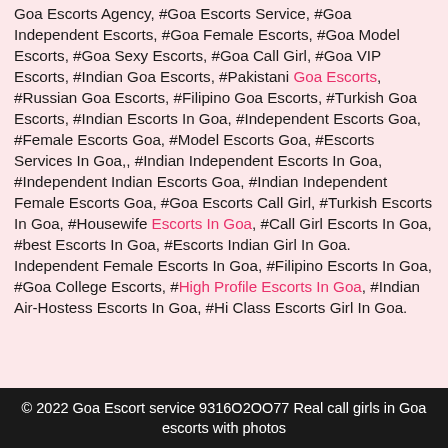Goa Escorts Agency, #Goa Escorts Service, #Goa Independent Escorts, #Goa Female Escorts, #Goa Model Escorts, #Goa Sexy Escorts, #Goa Call Girl, #Goa VIP Escorts, #Indian Goa Escorts, #Pakistani Goa Escorts, #Russian Goa Escorts, #Filipino Goa Escorts, #Turkish Goa Escorts, #Indian Escorts In Goa, #Independent Escorts Goa, #Female Escorts Goa, #Model Escorts Goa, #Escorts Services In Goa,, #Indian Independent Escorts In Goa, #Independent Indian Escorts Goa, #Indian Independent Female Escorts Goa, #Goa Escorts Call Girl, #Turkish Escorts In Goa, #Housewife Escorts In Goa, #Call Girl Escorts In Goa, #best Escorts In Goa, #Escorts Indian Girl In Goa. Independent Female Escorts In Goa, #Filipino Escorts In Goa, #Goa College Escorts, #High Profile Escorts In Goa, #Indian Air-Hostess Escorts In Goa, #Hi Class Escorts Girl In Goa.
© 2022 Goa Escort service 9316O2OO77 Real call girls in Goa escorts with photos